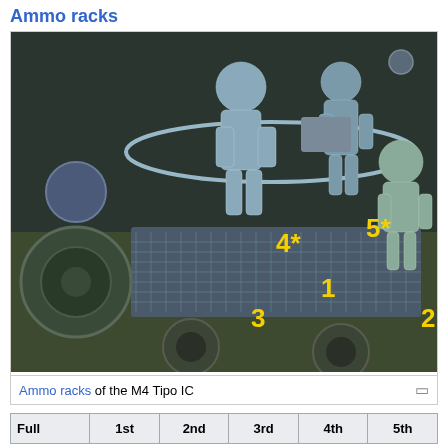Ammo racks
[Figure (illustration): X-ray style cutaway illustration of the M4 Tipo IC tank interior showing crew figures and ammunition racks labeled with yellow numbers 1, 2, 3, 4*, 5*]
Ammo racks of the M4 Tipo IC
| Full | 1st | 2nd | 3rd | 4th | 5th |
| --- | --- | --- | --- | --- | --- |